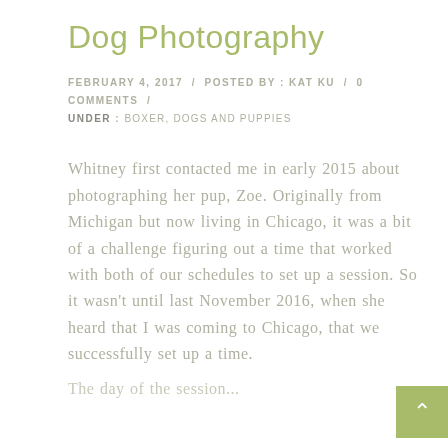Dog Photography
FEBRUARY 4, 2017  /  POSTED BY : KAT KU  /  0 COMMENTS  /  UNDER : BOXER, DOGS AND PUPPIES
Whitney first contacted me in early 2015 about photographing her pup, Zoe. Originally from Michigan but now living in Chicago, it was a bit of a challenge figuring out a time that worked with both of our schedules to set up a session. So it wasn't until last November 2016, when she heard that I was coming to Chicago, that we successfully set up a time.
The day of the session...